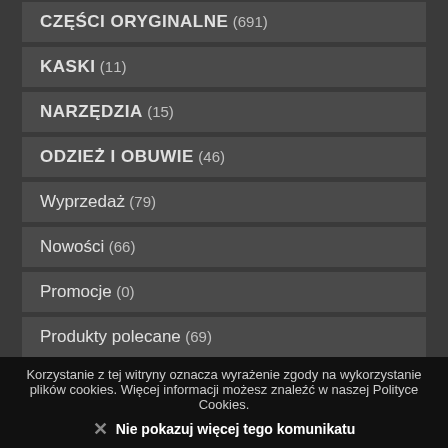CZĘŚCI ORYGINALNE (691)
KASKI (11)
NARZĘDZIA (15)
ODZIEŻ i OBUWIE (46)
Wyprzedaż (79)
Nowości (66)
Promocje (0)
Produkty polecane (69)
Hity w naszym sklepie (48)
Producenci
Korzystanie z tej witryny oznacza wyrażenie zgody na wykorzystanie plików cookies. Więcej informacji możesz znaleźć w naszej Polityce Cookies. Nie pokazuj więcej tego komunikatu